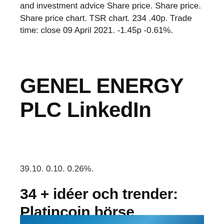and investment advice Share price. Share price. Share price chart. TSR chart. 234 .40p. Trade time: close 09 April 2021. -1.45p -0.61%.
GENEL ENERGY PLC LinkedIn
39.10. 0.10. 0.26%.
34 + idéer och trender: Platincoin börse
[Figure (photo): Blue gradient background image, dark to lighter blue tones]